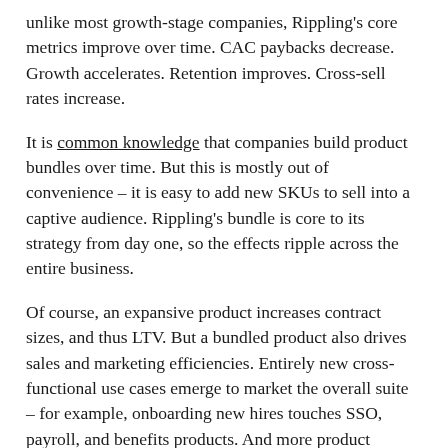unlike most growth-stage companies, Rippling's core metrics improve over time. CAC paybacks decrease. Growth accelerates. Retention improves. Cross-sell rates increase.
It is common knowledge that companies build product bundles over time. But this is mostly out of convenience – it is easy to add new SKUs to sell into a captive audience. Rippling's bundle is core to its strategy from day one, so the effects ripple across the entire business.
Of course, an expansive product increases contract sizes, and thus LTV. But a bundled product also drives sales and marketing efficiencies. Entirely new cross-functional use cases emerge to market the overall suite – for example, onboarding new hires touches SSO, payroll, and benefits products. And more product functionality increases the likelihood of competing with